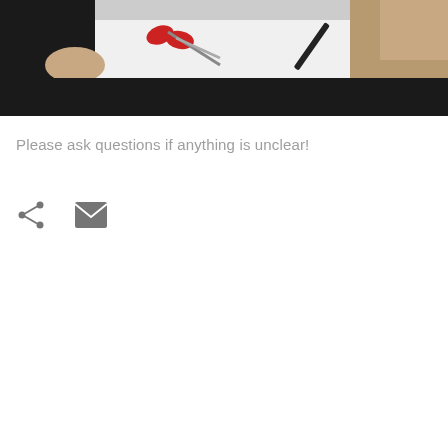[Figure (photo): A photo showing a person's hands with scissors (red handles) and a marker/pen on a white surface, with the person wearing a black top. Lower portion of image is black.]
Please ask questions if anything is unclear!
[Figure (infographic): Two UI icons: a share icon (less-than symbol with dots) and a mail/envelope icon, both in grey.]